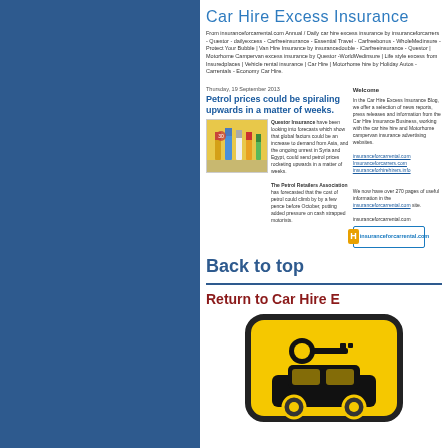Car Hire Excess Insurance
From insuranceforcarrental.com Annual / Daily car hire excess insurance by insuranceforcarrers - Questor - dailyexcess - Carfreeinsurance - Essential Travel - Carfreebonus - WholeMedinsure - Protect Your Bubble | Van Hire Insurance by insurancedouble - iCarfreeinsurance - Questor | Motorhome Campervan excess insurance by Questor -WorldWedinsure | Life style excess from Insuredplaces | Vehicle rental insurance | Car Hire | Motorhome hire by Holiday Autos - Carrentals - Economy Car Hire.
Thursday, 19 September 2013
Petrol prices could be spiraling upwards in a matter of weeks.
Questor Insurance have been looking into forecasts which show that global factors could be an increase in demand from Asia, and the ongoing unrest in Syria and Egypt, could send petrol prices rocketing upwards in a matter of weeks.

The Petrol Retailers Association has forecasted that the cost of petrol could climb by by a few pence before October, putting added pressure on cash strapped motorists.
Welcome

In the Car Hire Excess Insurance Blog, we offer a selection of news reports, press releases and information from the Car Hire Insurance Business, working with the car hire hire and Motorhome campervan insurance advertising websites.

insuranceforcarrental.com
Insuranceforcarrers.com
insuranceforhirehirers.info

We now have over 270 pages of useful information in the insuranceforcarrental.com site.

insuranceforcarrental.com
Back to top
Return to Car Hire E
[Figure (illustration): Yellow rounded square icon with black key and car silhouette on yellow background, representing car hire]